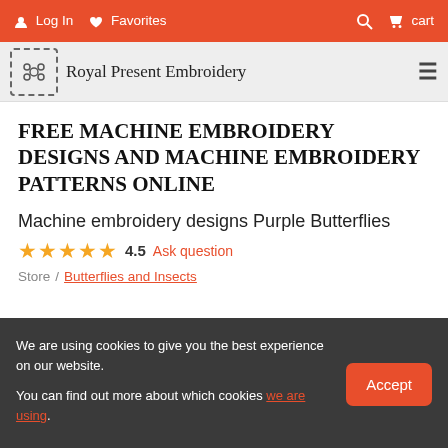Log In  Favorites  [search]  cart
Royal Present Embroidery
FREE MACHINE EMBROIDERY DESIGNS AND MACHINE EMBROIDERY PATTERNS ONLINE
Machine embroidery designs Purple Butterflies
★★★★★ 4.5  Ask question
Store / Butterflies and Insects
We are using cookies to give you the best experience on our website.

You can find out more about which cookies we are using.